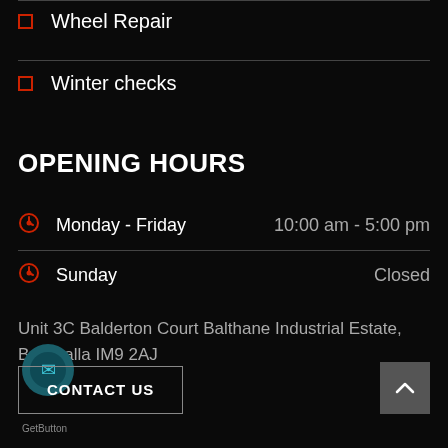Wheel Repair
Winter checks
OPENING HOURS
Monday - Friday   10:00 am - 5:00 pm
Sunday   Closed
Unit 3C Balderton Court Balthane Industrial Estate, Ballasalla IM9 2AJ
CONTACT US
[Figure (logo): GetButton logo - circular teal icon]
GetButton